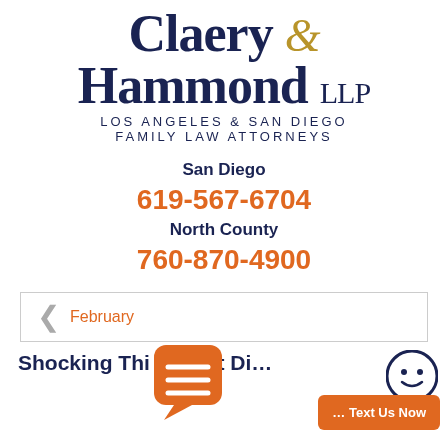[Figure (logo): Claery & Hammond LLP law firm logo with firm name in dark navy serif font and ampersand in gold italic, subtitle reading LOS ANGELES & SAN DIEGO FAMILY LAW ATTORNEYS]
San Diego
619-567-6704
North County
760-870-4900
February
Shocking Thi...bout Di...
[Figure (screenshot): Chat/text us now UI overlay with orange chat bubble icon and '... Text Us Now' orange button, and smiley face icon]